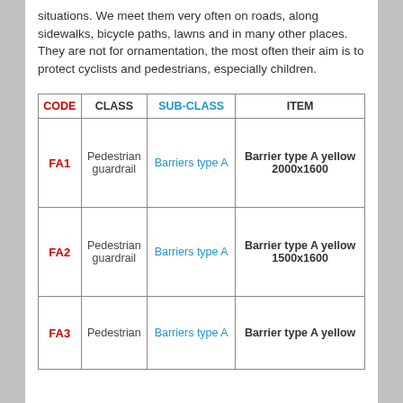situations. We meet them very often on roads, along sidewalks, bicycle paths, lawns and in many other places. They are not for ornamentation, the most often their aim is to protect cyclists and pedestrians, especially children.
| CODE | CLASS | SUB-CLASS | ITEM |
| --- | --- | --- | --- |
| FA1 | Pedestrian guardrail | Barriers type A | Barrier type A yellow 2000x1600 |
| FA2 | Pedestrian guardrail | Barriers type A | Barrier type A yellow 1500x1600 |
| FA3 | Pedestrian | Barriers type A | Barrier type A yellow |